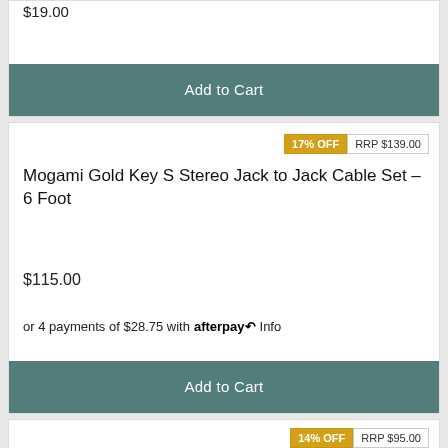$19.00
Add to Cart
17% OFF  RRP $139.00
Mogami Gold Key S Stereo Jack to Jack Cable Set - 6 Foot
$115.00
or 4 payments of $28.75 with afterpay Info
Add to Cart
14% OFF  RRP $95.00